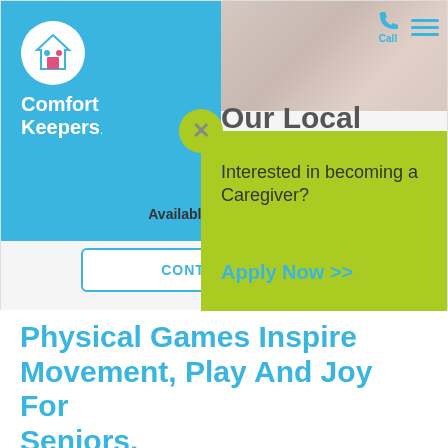[Figure (screenshot): Comfort Keepers website screenshot showing local office banner with blue sidebar logo, navigation icons, heading 'Our Local Office is Here to Serve You', availability text, contact button, and a green popup asking about becoming a Caregiver with Apply Now link]
Physical Games Inspire Movement, Play And Joy For Seniors.
Research shows that...